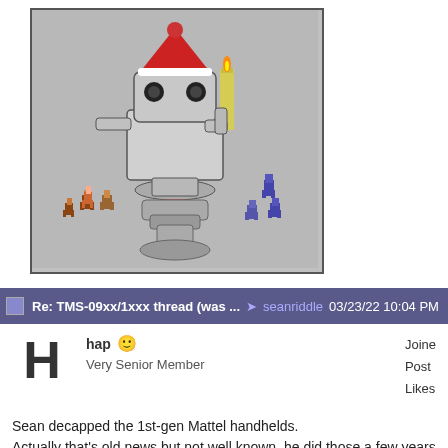[Figure (illustration): Pixel art style illustration of a robot with a Santa hat holding a candle, surrounded by small pixel art characters (figures in red/brown and blue). The robot is large and mechanical-looking, centered on a gray background.]
Re: TMS-09xx/1xxx thread (was ... → seanriddle 03/23/22 10:04 PM
hap   Very Senior Member   Joined Posts Likes
Sean decapped the 1st-gen Mattel handhelds.
Actually that's old news but not well known, he did those a few years a... that the opcodes weren't figured out until now, and now the MCU they... finally emulated in MAME.
He made a webpage covering this, read more about it over there if inte...